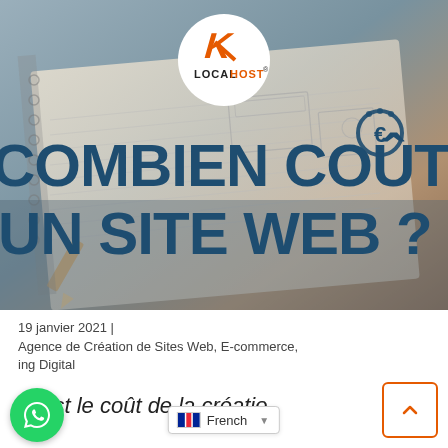[Figure (photo): Hero image showing notebook/blueprint sketches with a LocalHost agency logo in a white circle at the top center, and large dark teal bold text reading 'COMBIEN COÛTE UN SITE WEB ?' overlaid on the image]
19 janvier 2021 |
Agence de Création de Sites Web, E-commerce, Marketing Digital
Quel est le coût de la création d'un site web ?